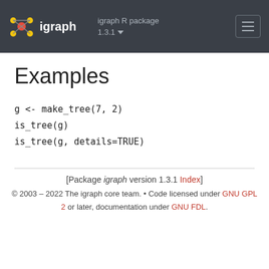igraph R package 1.3.1 — igraph logo and navigation
Examples
g <- make_tree(7, 2)
is_tree(g)
is_tree(g, details=TRUE)
[Package igraph version 1.3.1 Index] © 2003 – 2022 The igraph core team. • Code licensed under GNU GPL 2 or later, documentation under GNU FDL.